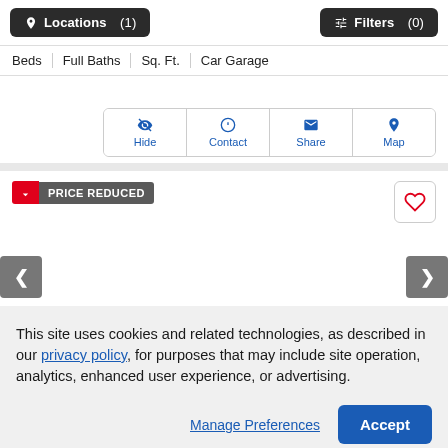Locations (1)   Filters (0)
| Beds | Full Baths | Sq. Ft. | Car Garage |
| --- | --- | --- | --- |
[Figure (screenshot): Action buttons: Hide, Contact, Share, Map]
[Figure (infographic): Price Reduced badge with down arrow]
[Figure (screenshot): Heart/favorite button]
[Figure (screenshot): Left and right navigation arrows]
This site uses cookies and related technologies, as described in our privacy policy, for purposes that may include site operation, analytics, enhanced user experience, or advertising.
Manage Preferences   Accept